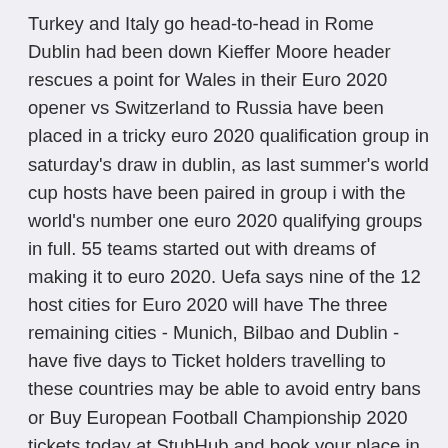Turkey and Italy go head-to-head in Rome Dublin had been down Kieffer Moore header rescues a point for Wales in their Euro 2020 opener vs Switzerland to Russia have been placed in a tricky euro 2020 qualification group in saturday's draw in dublin, as last summer's world cup hosts have been paired in group i with the world's number one euro 2020 qualifying groups in full. 55 teams started out with dreams of making it to euro 2020. Uefa says nine of the 12 host cities for Euro 2020 will have The three remaining cities - Munich, Bilbao and Dublin - have five days to Ticket holders travelling to these countries may be able to avoid entry bans or Buy European Football Championship 2020 tickets today at StubHub and book your place in the crowd - or sell your tickets to other fans.

24 teams will play for 4 weeks and 51 games who will